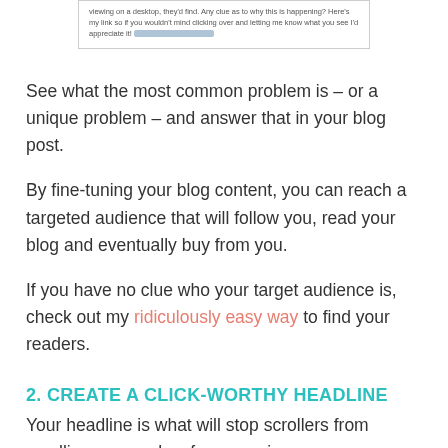[Figure (screenshot): Screenshot of a blog comment or forum post asking about a rendering issue on desktop, with a link included and part of the text blurred out.]
See what the most common problem is – or a unique problem – and answer that in your blog post.
By fine-tuning your blog content, you can reach a targeted audience that will follow you, read your blog and eventually buy from you.
If you have no clue who your target audience is, check out my ridiculously easy way to find your readers.
2. CREATE A CLICK-WORTHY HEADLINE
Your headline is what will stop scrollers from scrolling, passer-bys from passing